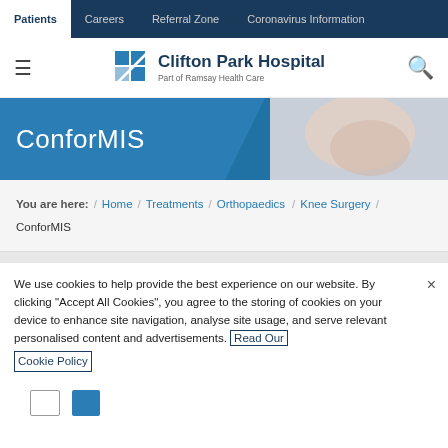Patients | Careers | Referral Zone | Coronavirus Information
[Figure (logo): Clifton Park Hospital logo — blue grid icon with text 'Clifton Park Hospital, Part of Ramsay Health Care']
[Figure (photo): Hero banner with blue diagonal background and text 'ConforMIS', alongside a photo of hands holding a knee]
You are here: / Home / Treatments / Orthopaedics / Knee Surgery / ConforMIS
We use cookies to help provide the best experience on our website. By clicking "Accept All Cookies", you agree to the storing of cookies on your device to enhance site navigation, analyse site usage, and serve relevant personalised content and advertisements. Read Our Cookie Policy